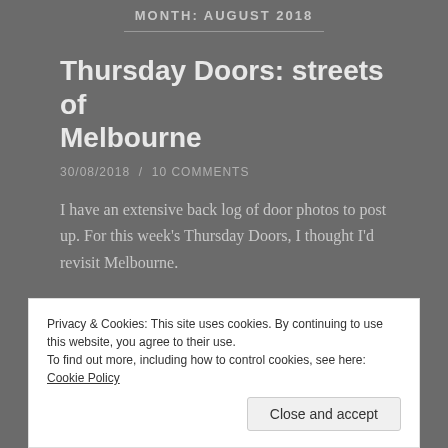MONTH: AUGUST 2018
Thursday Doors: streets of Melbourne
30/08/2018  /  10 COMMENTS
I have an extensive back log of door photos to post up. For this week's Thursday Doors, I thought I'd revisit Melbourne.
Privacy & Cookies: This site uses cookies. By continuing to use this website, you agree to their use.
To find out more, including how to control cookies, see here: Cookie Policy
Close and accept